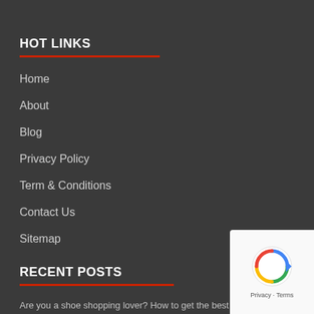HOT LINKS
Home
About
Blog
Privacy Policy
Term & Conditions
Contact Us
Sitemap
RECENT POSTS
Are you a shoe shopping lover? How to get the best deals...